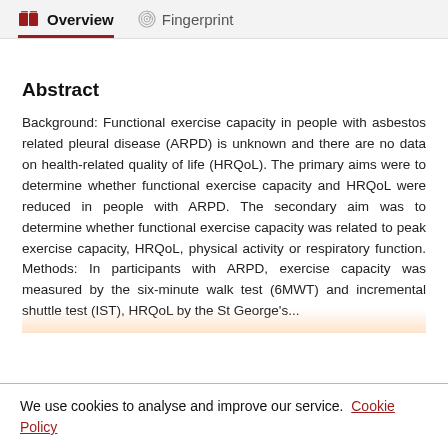Overview   Fingerprint
Abstract
Background: Functional exercise capacity in people with asbestos related pleural disease (ARPD) is unknown and there are no data on health-related quality of life (HRQoL). The primary aims were to determine whether functional exercise capacity and HRQoL were reduced in people with ARPD. The secondary aim was to determine whether functional exercise capacity was related to peak exercise capacity, HRQoL, physical activity or respiratory function. Methods: In participants with ARPD, exercise capacity was measured by the six-minute walk test (6MWT) and incremental shuttle test (IST), HRQoL by the St George's...
We use cookies to analyse and improve our service. Cookie Policy